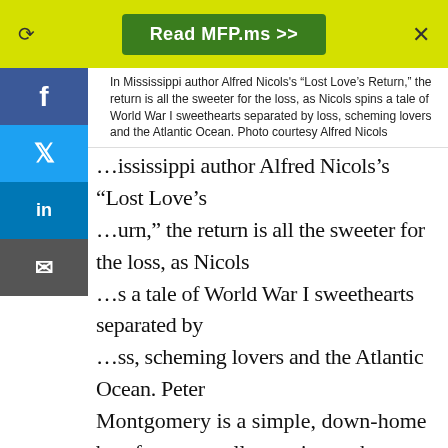Read MFP.ms >>
In Mississippi author Alfred Nicols's “Lost Love’s Return,” the return is all the sweeter for the loss, as Nicols spins a tale of World War I sweethearts separated by loss, scheming lovers and the Atlantic Ocean. Photo courtesy Alfred Nicols
In Mississippi author Alfred Nicols’s “Lost Love’s Return,” the return is all the sweeter for the loss, as Nicols spins a tale of World War I sweethearts separated by loss, scheming lovers and the Atlantic Ocean. Peter Montgomery is a simple, down-home boy from a small town in southern Mississippi who meets London native Elizabeth Baker at Edmonton Hospital after his leg is filled with German shrapnel. The pair fall deeply in love, but when Peter is shipped back to America with no way to leave word of his whereabouts for Elizabeth, the two begin to chart very different courses for their lives.